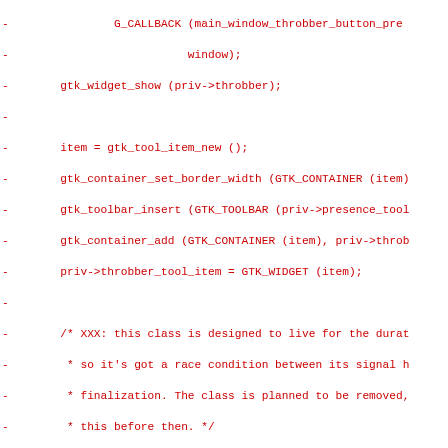[Figure (screenshot): Source code diff showing removed lines (prefixed with '-') in red monospace font. The code is C/GTK+ code related to EmpathyMainWindow, showing throbber button setup, individual manager initialization, and individual view feature flags.]